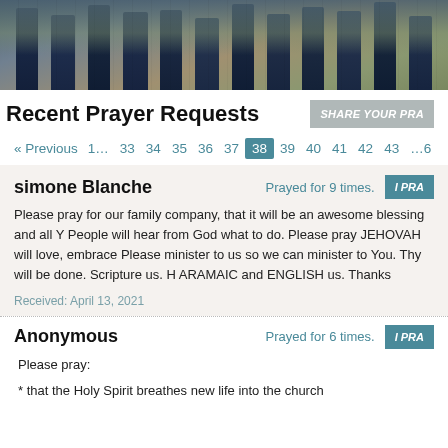[Figure (photo): Horizontal banner photo showing people standing in a field, visible from legs/waist down, wearing jeans, with dry grass in background]
Recent Prayer Requests
SHARE YOUR PRA
« Previous 1… 33 34 35 36 37 38 39 40 41 42 43 …6
simone Blanche
Prayed for 9 times.
I PRA
Please pray for our family company, that it will be an awesome blessing and all Y People will hear from God what to do. Please pray JEHOVAH will love, embrace Please minister to us so we can minister to You. Thy will be done. Scripture us. H ARAMAIC and ENGLISH us. Thanks
Received: April 13, 2021
Anonymous
Prayed for 6 times.
I PRA
Please pray:
* that the Holy Spirit breathes new life into the church